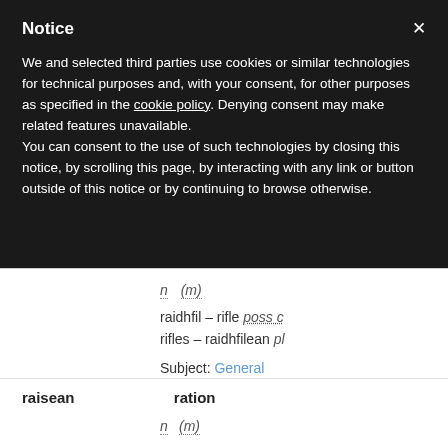Notice
We and selected third parties use cookies or similar technologies for technical purposes and, with your consent, for other purposes as specified in the cookie policy. Denying consent may make related features unavailable.
You can consent to the use of such technologies by closing this notice, by scrolling this page, by interacting with any link or button outside of this notice or by continuing to browse otherwise.
n  (m)
raidhfil - rifle poss c
rifles - raidhfilean pl
Subject: General
raisean    ration